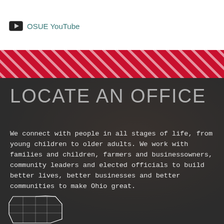OSUE YouTube
[Figure (other): Diagonal red and white stripe decorative band]
LOCATE AN OFFICE
We connect with people in all stages of life, from young children to older adults. We work with families and children, farmers and businessowners, community leaders and elected officials to build better lives, better businesses and better communities to make Ohio great.
[Figure (map): Outline map of Ohio showing county borders, white lines on dark background, partially visible at bottom of page]